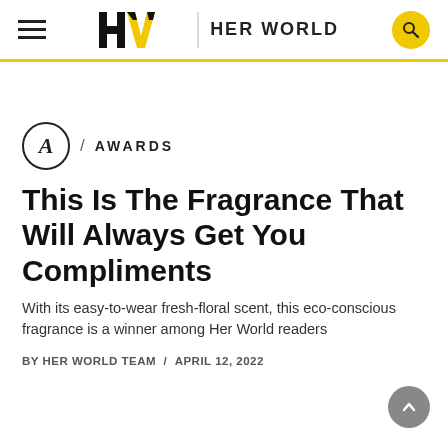HW / HER WORLD
AWARDS
This Is The Fragrance That Will Always Get You Compliments
With its easy-to-wear fresh-floral scent, this eco-conscious fragrance is a winner among Her World readers
BY HER WORLD TEAM / APRIL 12, 2022